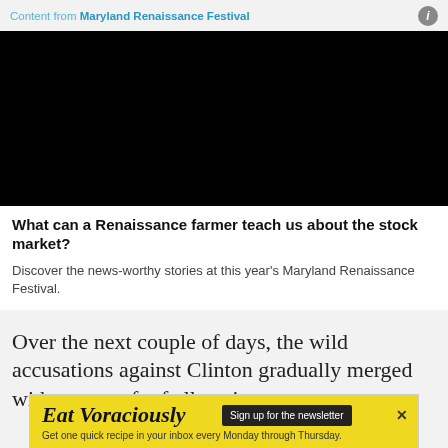Content from Maryland Renaissance Festival
[Figure (other): Black video player thumbnail]
What can a Renaissance farmer teach us about the stock market?
Discover the news-worthy stories at this year's Maryland Renaissance Festival.
Over the next couple of days, the wild accusations against Clinton gradually merged with a new raft of allegations
[Figure (other): Advertisement banner: Eat Voraciously - Sign up for the newsletter. Get one quick recipe in your inbox every Monday through Thursday.]